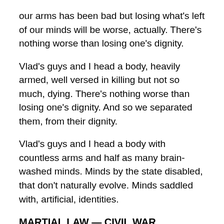our arms has been bad but losing what's left of our minds will be worse, actually. There's nothing worse than losing one's dignity.
Vlad's guys and I head a body, heavily armed, well versed in killing but not so much, dying. There's nothing worse than losing one's dignity. And so we separated them, from their dignity.
Vlad's guys and I head a body with countless arms and half as many brain-washed minds. Minds by the state disabled, that don't naturally evolve. Minds saddled with, artificial, identities.
MARTIAL LAW — CIVIL WAR
As everyone knows, I am unfit. And my legacy won't fit in the small space of the epitaph, of a tombstone. That's why